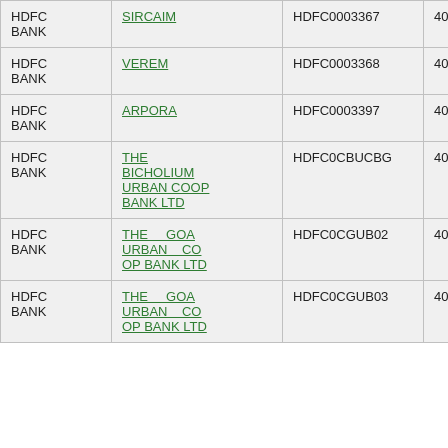| HDFC BANK | SIRCAIM | HDFC0003367 | 403240065 |
| HDFC BANK | VEREM | HDFC0003368 | 403240060 |
| HDFC BANK | ARPORA | HDFC0003397 | 403240066 |
| HDFC BANK | THE BICHOLIUM URBAN COOP BANK LTD | HDFC0CBUCBG | 403413006 |
| HDFC BANK | THE GOA URBAN CO OP BANK LTD | HDFC0CGUB02 | 403416002 |
| HDFC BANK | THE GOA URBAN CO OP BANK LTD | HDFC0CGUB03 | 403416003 |